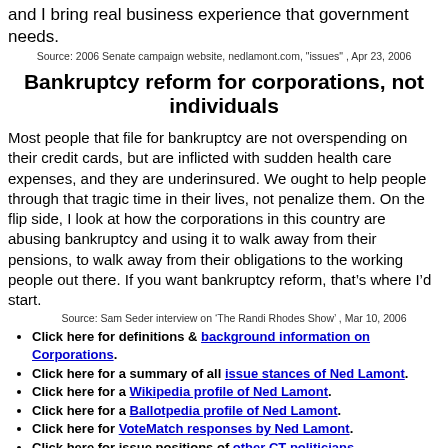and I bring real business experience that government needs.
Source: 2006 Senate campaign website, nedlamont.com, "issues" , Apr 23, 2006
Bankruptcy reform for corporations, not individuals
Most people that file for bankruptcy are not overspending on their credit cards, but are inflicted with sudden health care expenses, and they are underinsured. We ought to help people through that tragic time in their lives, not penalize them. On the flip side, I look at how the corporations in this country are abusing bankruptcy and using it to walk away from their pensions, to walk away from their obligations to the working people out there. If you want bankruptcy reform, that’s where I’d start.
Source: Sam Seder interview on 'The Randi Rhodes Show' , Mar 10, 2006
Click here for definitions & background information on Corporations.
Click here for a summary of all issue stances of Ned Lamont.
Click here for a Wikipedia profile of Ned Lamont.
Click here for a Ballotpedia profile of Ned Lamont.
Click here for VoteMatch responses by Ned Lamont.
Click here for issue positions of other CT politicians.
Click here for CT primary archives.
Click here for CT secondary archives.
Other governors on Corporations:
Ned Lamont on other issues
CT   Gubernatorial   Gubernatorial   Abortion